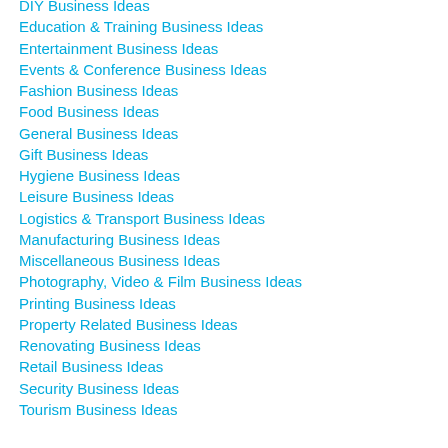DIY Business Ideas
Education & Training Business Ideas
Entertainment Business Ideas
Events & Conference Business Ideas
Fashion Business Ideas
Food Business Ideas
General Business Ideas
Gift Business Ideas
Hygiene Business Ideas
Leisure Business Ideas
Logistics & Transport Business Ideas
Manufacturing Business Ideas
Miscellaneous Business Ideas
Photography, Video & Film Business Ideas
Printing Business Ideas
Property Related Business Ideas
Renovating Business Ideas
Retail Business Ideas
Security Business Ideas
Tourism Business Ideas